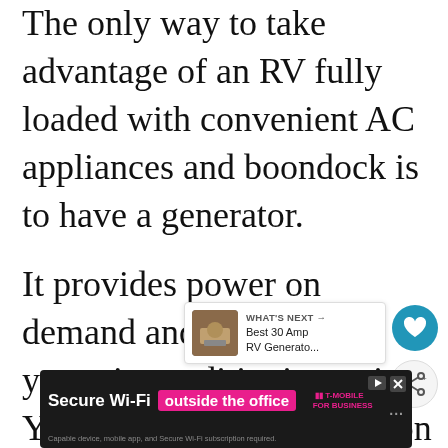The only way to take advantage of an RV fully loaded with convenient AC appliances and boondock is to have a generator.
It provides power on demand and lets you run your air-conditioning unit. You don't have to depend on the weather for solar energy.
[Figure (screenshot): Teal heart/favorite button (circular icon)]
[Figure (screenshot): Share button (circular icon with share symbol)]
[Figure (infographic): What's Next panel showing Best 30 Amp RV Generato... with thumbnail image]
[Figure (screenshot): T-Mobile advertisement banner: Secure Wi-Fi outside the office, T-Mobile for Business]